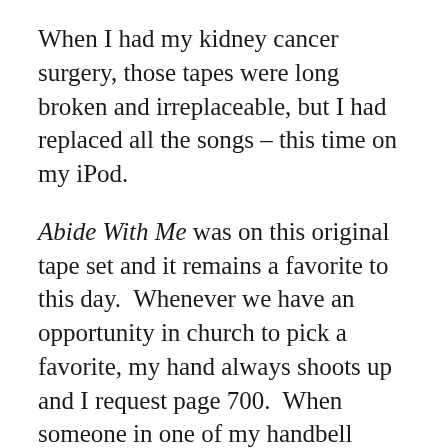When I had my kidney cancer surgery, those tapes were long broken and irreplaceable, but I had replaced all the songs – this time on my iPod.
Abide With Me was on this original tape set and it remains a favorite to this day.  Whenever we have an opportunity in church to pick a favorite, my hand always shoots up and I request page 700.  When someone in one of my handbell groups moves away, we always sign a hymnbook and give it to them.  I sign page 700.
I think that many people would probably think that this hymn is